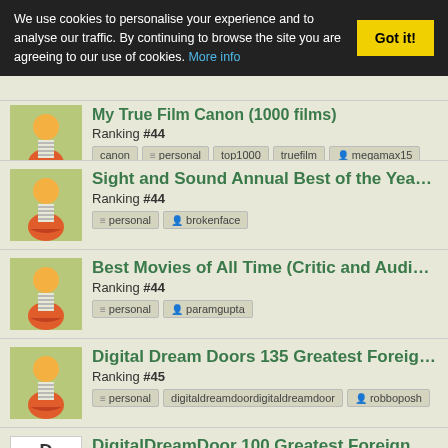We use cookies to personalise your experience and to analyse our traffic. By continuing to browse the site you are agreeing to our use of cookies. More info
Got it!
My True Film Canon (1000 films) — Ranking #44 — tags: canon, personal, top1000, truefilm, megamax15
Sight and Sound Annual Best of the Year Polls — Ranking #44 — tags: personal, brokenface
Best Movies of All Time (Critic and Audience Ra... — Ranking #44 — tags: personal, paramgupta
Digital Dream Doors 135 Greatest Foreign Mo... — Ranking #45 — tags: personal, digitaldreamdoordigitaldreamdoor, robboposh
DigitalDreamDoor 100 Greatest Foreign Movi... — Ranking #45